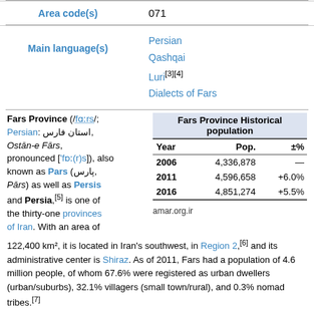| Area code(s) |  |
| --- | --- |
| Area code(s) | 071 |
| Main language(s) |  |
| --- | --- |
| Main language(s) | Persian
Qashqai
Luri[3][4]
Dialects of Fars |
| Fars Province Historical population |
| --- |
| Year | Pop. | ±% |
| 2006 | 4,336,878 | — |
| 2011 | 4,596,658 | +6.0% |
| 2016 | 4,851,274 | +5.5% |
amar.org.ir
Fars Province (/fɑːrs/; Persian: استان فارس, Ostān-e Fārs, pronounced ['fɒː(r)s]), also known as Pars (پارس, Pārs) as well as Persis and Persia,[5] is one of the thirty-one provinces of Iran. With an area of 122,400 km², it is located in Iran's southwest, in Region 2,[6] and its administrative center is Shiraz. As of 2011, Fars had a population of 4.6 million people, of whom 67.6% were registered as urban dwellers (urban/suburbs), 32.1% villagers (small town/rural), and 0.3% nomad tribes.[7]
Fars is the historical homeland of the Persian people.[8][9] It was the homeland of the Achaemenid and Sasanian Persian dynasties of Iran, and is also the location of the...